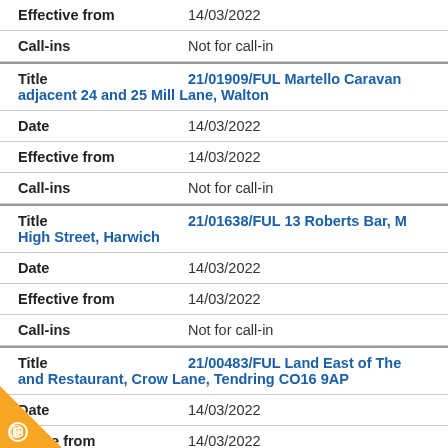| Field | Value |
| --- | --- |
| Effective from | 14/03/2022 |
| Call-ins | Not for call-in |
| Title | 21/01909/FUL Martello Caravan adjacent 24 and 25 Mill Lane, Walton |
| Date | 14/03/2022 |
| Effective from | 14/03/2022 |
| Call-ins | Not for call-in |
| Title | 21/01638/FUL 13 Roberts Bar, M High Street, Harwich |
| Date | 14/03/2022 |
| Effective from | 14/03/2022 |
| Call-ins | Not for call-in |
| Title | 21/00483/FUL Land East of The and Restaurant, Crow Lane, Tendring CO16 9AP |
| Date | 14/03/2022 |
| Effective from | 14/03/2022 |
| Call-ins | Not for call-in |